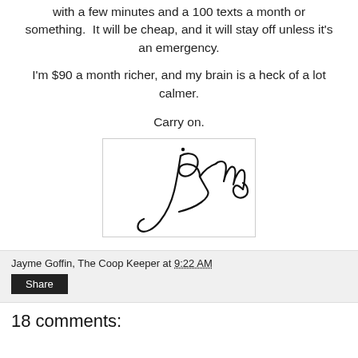with a few minutes and a 100 texts a month or something. It will be cheap, and it will stay off unless it's an emergency.
I'm $90 a month richer, and my brain is a heck of a lot calmer.
Carry on.
[Figure (illustration): Handwritten cursive signature reading 'Jayme' inside a rectangular bordered box]
Jayme Goffin, The Coop Keeper at 9:22 AM
Share
18 comments: